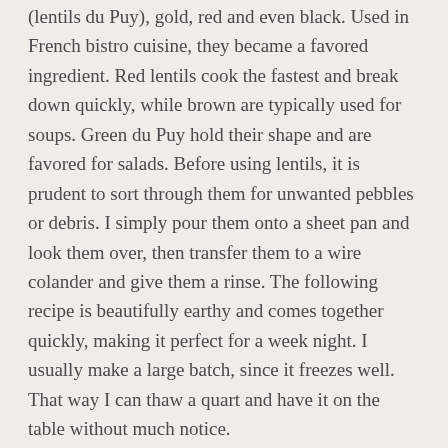(lentils du Puy), gold, red and even black. Used in French bistro cuisine, they became a favored ingredient. Red lentils cook the fastest and break down quickly, while brown are typically used for soups. Green du Puy hold their shape and are favored for salads. Before using lentils, it is prudent to sort through them for unwanted pebbles or debris. I simply pour them onto a sheet pan and look them over, then transfer them to a wire colander and give them a rinse. The following recipe is beautifully earthy and comes together quickly, making it perfect for a week night. I usually make a large batch, since it freezes well. That way I can thaw a quart and have it on the table without much notice.
COUNTRY LENTIL SOUP
INGREDIENTS:
1 pound bag of brown lentils, picked over and rinsed
8 cups vegetable stock (homemade if possible) or water
2 tablespoons olive oil
1-1/2 cup celery, sliced
1-1/2 cup carrots, cut into small cubes
1 medium yellow onion, chopped